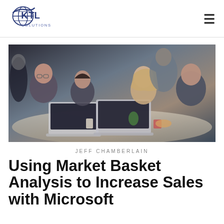[Figure (logo): KTL Solutions logo with stylized globe and text]
[Figure (photo): Group of young professionals sitting around a table working on laptops and discussing]
JEFF CHAMBERLAIN
Using Market Basket Analysis to Increase Sales with Microsoft